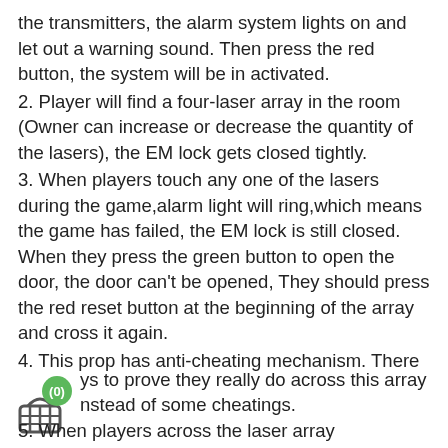the transmitters, the alarm system lights on and let out a warning sound. Then press the red button, the system will be in activated.
2. Player will find a four-laser array in the room (Owner can increase or decrease the quantity of the lasers), the EM lock gets closed tightly.
3. When players touch any one of the lasers during the game,alarm light will ring,which means the game has failed, the EM lock is still closed. When they press the green button to open the door, the door can't be opened, They should press the red reset button at the beginning of the array and cross it again.
4. This prop has anti-cheating mechanism. There are three invisible infrared rays in the array. Adventurers should touch all the three infrared rays to prove they really do across this array instead of some cheatings.
5. When players across the laser array